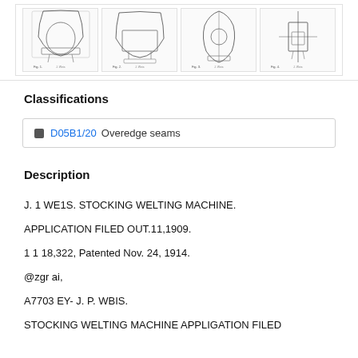[Figure (illustration): Row of four patent drawing thumbnails showing a stocking welting machine from different views/figures, each in a bordered box with handwritten figure labels and signatures at the bottom.]
Classifications
D05B1/20  Overedge seams
Description
J. 1 WE1S. STOCKING WELTING MACHINE.
APPLICATION FILED OUT.11,1909.
1 1 18,322, Patented Nov. 24, 1914.
@zgr ai,
A7703 EY- J. P. WBIS.
STOCKING WELTING MACHINE APPLIGATION FILED